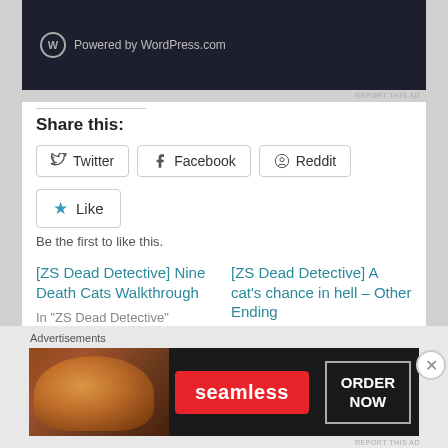[Figure (screenshot): Dark banner with WordPress.com logo and 'Powered by WordPress.com' text]
REPORT THIS AD
Share this:
Twitter
Facebook
Reddit
Like
Be the first to like this.
[ZS Dead Detective] Nine Death Cats Walkthrough
In "ZS Dead Detective"
[ZS Dead Detective] A cat's chance in hell – Other Ending
In "ZS Dead Detective"
[ZS Dead Detective]
Advertisements
[Figure (screenshot): Seamless food ordering advertisement banner with pizza image, red Seamless logo, and ORDER NOW button]